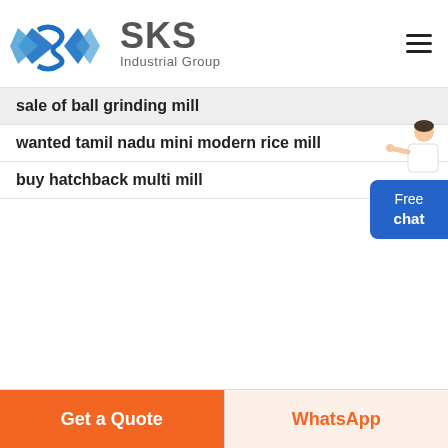[Figure (logo): SKS Industrial Group logo with blue diamond-shaped icon and grey text]
sale of ball grinding mill
wanted tamil nadu mini modern rice mill
buy hatchback multi mill
[Figure (illustration): Person in white jacket pointing, next to a blue Free chat button]
Get a Quote
WhatsApp